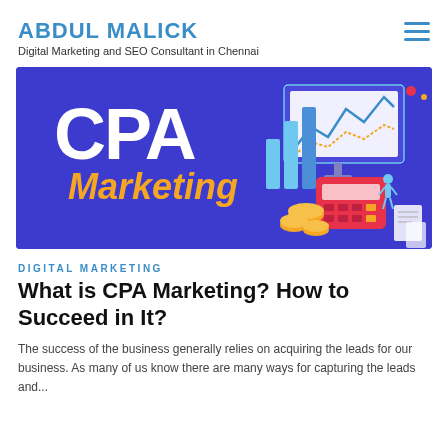ABDUL MALICK
Digital Marketing and SEO Consultant in Chennai
[Figure (illustration): CPA Marketing banner: dark blue/purple background with large white bold text 'CPA' and golden-yellow italic text 'Marketing' on the left. On the right, an isometric illustration of bar charts, a monitor showing a line graph, a red calculator, gold coins, a small figure, and paper documents.]
DIGITAL MARKETING
What is CPA Marketing? How to Succeed in It?
The success of the business generally relies on acquiring the leads for our business. As many of us know there are many ways for capturing the leads and...